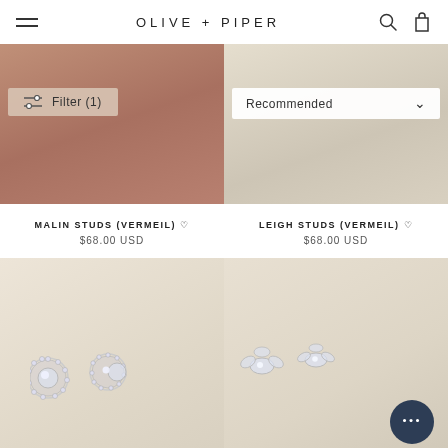OLIVE + PIPER
[Figure (photo): Close-up of skin/hand with warm brown tones, top-left product image for Malin Studs]
[Figure (photo): Cream/beige fabric texture, top-right product image for Leigh Studs]
Filter (1)
Recommended
MALIN STUDS (VERMEIL) ♡
$68.00 USD
LEIGH STUDS (VERMEIL) ♡
$68.00 USD
[Figure (photo): Round halo crystal stud earrings on cream fabric background]
[Figure (photo): Marquise cluster crystal stud earrings on cream fabric background, with chat bubble overlay]